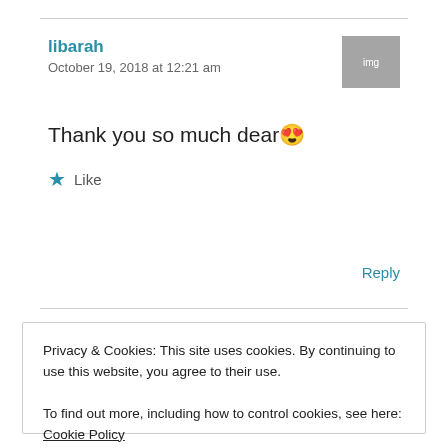libarah
October 19, 2018 at 12:21 am
Thank you so much dear 😍
★ Like
Reply
Privacy & Cookies: This site uses cookies. By continuing to use this website, you agree to their use.
To find out more, including how to control cookies, see here: Cookie Policy
Close and accept